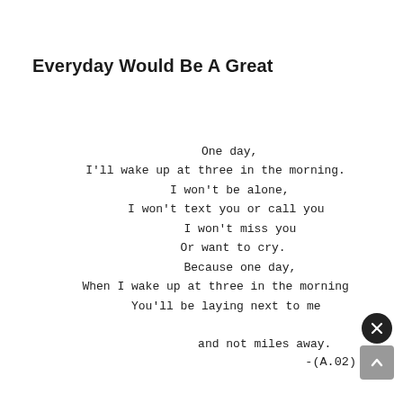Everyday Would Be A Great
One day,
I'll wake up at three in the morning.
I won't be alone,
I won't text you or call you
I won't miss you
Or want to cry.
Because one day,
When I wake up at three in the morning
You'll be laying next to me

and not miles away.
-(A.02)